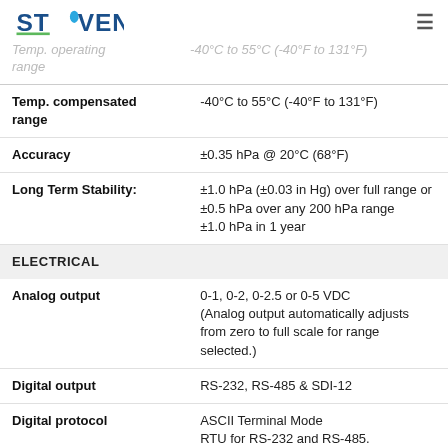STEVENS
Temp. operating range   -40°C to 55°C (-40°F to 131°F)
| Specification | Value |
| --- | --- |
| Temp. compensated range | -40°C to 55°C (-40°F to 131°F) |
| Accuracy | ±0.35 hPa @ 20°C (68°F) |
| Long Term Stability: | ±1.0 hPa (±0.03 in Hg) over full range or ±0.5 hPa over any 200 hPa range
±1.0 hPa in 1 year |
| ELECTRICAL |  |
| Analog output | 0-1, 0-2, 0-2.5 or 0-5 VDC
(Analog output automatically adjusts from zero to full scale for range selected.) |
| Digital output | RS-232, RS-485 & SDI-12 |
| Digital protocol | ASCII Terminal Mode
RTU for RS-232 and RS-485. |
| Baud rates | 1200, 2400, 4800, 9600, & 19.2K |